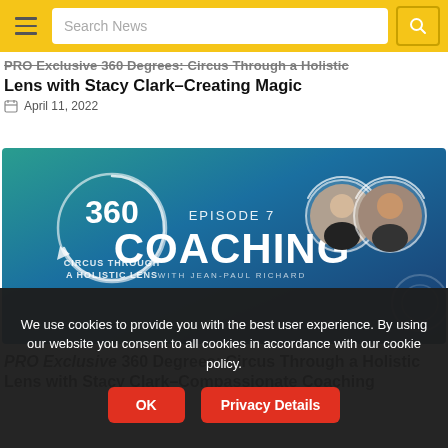Search News
PRO Exclusive 360 Degrees: Circus Through a Holistic Lens with Stacy Clark–Creating Magic
April 11, 2022
[Figure (photo): 360 Degrees: Circus Through a Holistic Lens – Episode 7, Coaching with Jean-Paul Richard. Blue gradient background with circular 360 logo, two circular headshots, and large text COACHING.]
PRO Exclusive 360 Degrees: Circus Through a Holistic Lens with Stacy Clark–Compassionate Coaching
We use cookies to provide you with the best user experience. By using our website you consent to all cookies in accordance with our cookie policy.